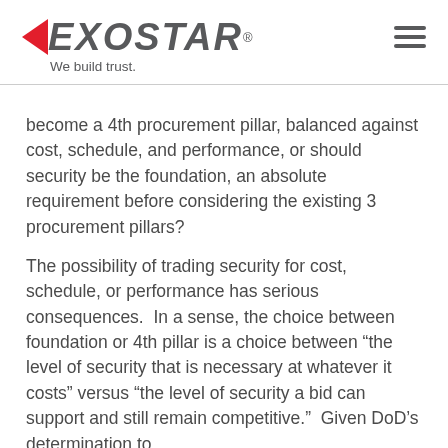[Figure (logo): Exostar logo with red arrow chevron and tagline 'We build trust.']
become a 4th procurement pillar, balanced against cost, schedule, and performance, or should security be the foundation, an absolute requirement before considering the existing 3 procurement pillars?
The possibility of trading security for cost, schedule, or performance has serious consequences.  In a sense, the choice between foundation or 4th pillar is a choice between “the level of security that is necessary at whatever it costs” versus “the level of security a bid can support and still remain competitive.”  Given DoD’s determination to